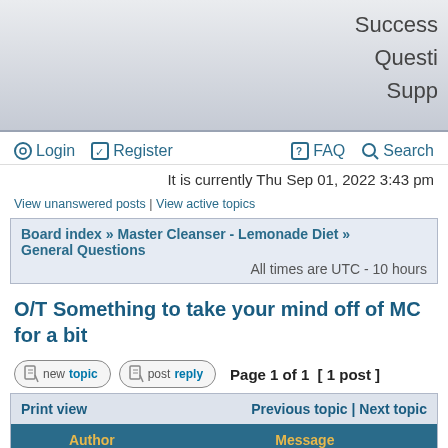Success
Questi
Supp
Login   Register   FAQ   Search
It is currently Thu Sep 01, 2022 3:43 pm
View unanswered posts | View active topics
Board index » Master Cleanser - Lemonade Diet » General Questions
All times are UTC - 10 hours
O/T Something to take your mind off of MC for a bit
Page 1 of 1  [ 1 post ]
| Print view | Previous topic | Next topic |
| --- | --- |
| Author | Message |
| Allicsirp | Post subject: O/T Something to take your mind off of MC for a bit |